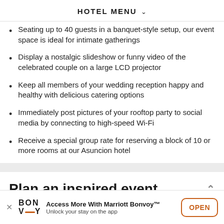HOTEL MENU
Seating up to 40 guests in a banquet-style setup, our event space is ideal for intimate gatherings
Display a nostalgic slideshow or funny video of the celebrated couple on a large LCD projector
Keep all members of your wedding reception happy and healthy with delicious catering options
Immediately post pictures of your rooftop party to social media by connecting to high-speed Wi-Fi
Receive a special group rate for reserving a block of 10 or more rooms at our Asuncion hotel
Plan an inspired event
Access More With Marriott Bonvoy™ Unlock your stay on the app